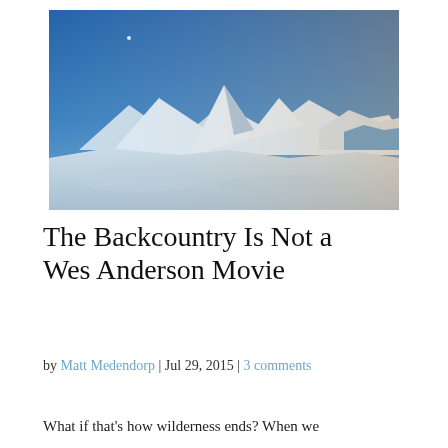[Figure (photo): Panoramic landscape photograph of snow-capped mountain peaks under a clear blue sky, with snow fields in the foreground and warm golden light on the right side of the mountains.]
The Backcountry Is Not a Wes Anderson Movie
by Matt Medendorp | Jul 29, 2015 | 3 comments
What if that's how wilderness ends? When we